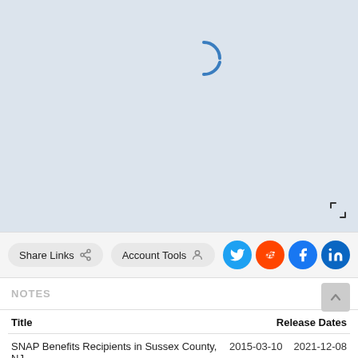[Figure (map): Map area with light blue-grey background showing a loading spinner (blue arc) in center-upper area and a fullscreen icon in bottom-right corner.]
Share Links  Account Tools
[Figure (other): Social sharing icons: Twitter (blue), Reddit (orange), Facebook (blue), LinkedIn (teal)]
NOTES
| Title | Release Dates |
| --- | --- |
| SNAP Benefits Recipients in Sussex County, NJ | 2015-03-10  2021-12-08 |